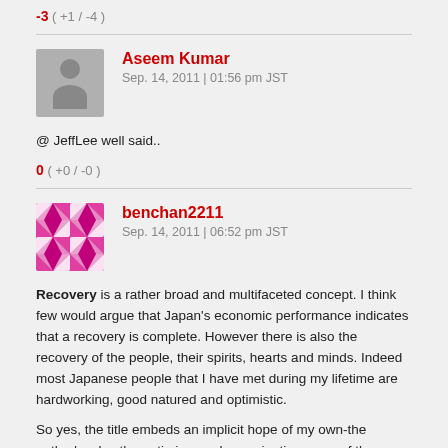-3 ( +1 / -4 )
Aseem Kumar
Sep. 14, 2011 | 01:56 pm JST
@ JeffLee well said..
0 ( +0 / -0 )
benchan2211
Sep. 14, 2011 | 06:52 pm JST
Recovery is a rather broad and multifaceted concept. I think few would argue that Japan's economic performance indicates that a recovery is complete. However there is also the recovery of the people, their spirits, hearts and minds. Indeed most Japanese people that I have met during my lifetime are hardworking, good natured and optimistic.

So yes, the title embeds an implicit hope of my own-the author's, plus the optimism and conscientiousness of those around me, coupled with a strong desire for some wise